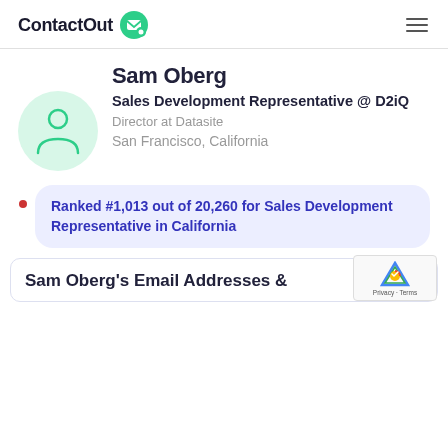ContactOut
Sam Oberg
Sales Development Representative @ D2iQ
Director at Datasite
San Francisco, California
Ranked #1,013 out of 20,260 for Sales Development Representative in California
Sam Oberg's Email Addresses &